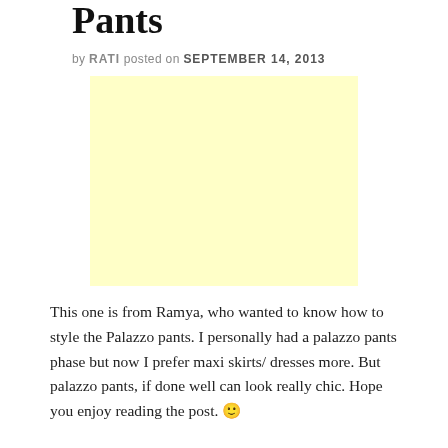Pants
by RATI posted on SEPTEMBER 14, 2013
[Figure (other): Yellow/cream colored advertisement placeholder box]
This one is from Ramya, who wanted to know how to style the Palazzo pants. I personally had a palazzo pants phase but now I prefer maxi skirts/ dresses more. But palazzo pants, if done well can look really chic. Hope you enjoy reading the post. 🙂